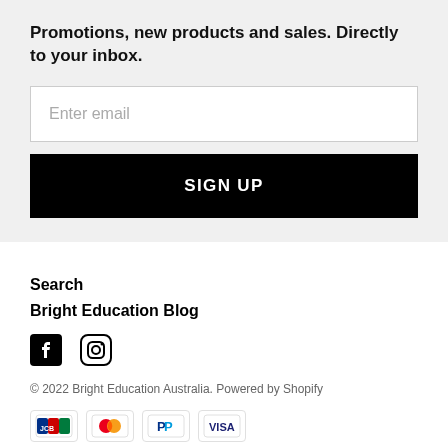Promotions, new products and sales. Directly to your inbox.
[Figure (screenshot): Email input field with placeholder text 'Enter email']
[Figure (screenshot): Black 'SIGN UP' button]
Search
Bright Education Blog
[Figure (other): Facebook and Instagram social media icons]
© 2022 Bright Education Australia. Powered by Shopify
[Figure (other): Payment icons: JCB, Mastercard, PayPal, Visa]